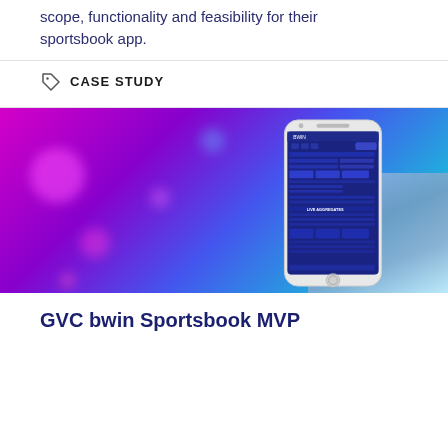scope, functionality and feasibility for their sportsbook app.
CASE STUDY
[Figure (photo): A smartphone displaying a sportsbook betting app interface (bwin), shown against a vivid purple-to-cyan gradient background with colorful abstract light effects and a marble texture patch in the bottom right.]
GVC bwin Sportsbook MVP